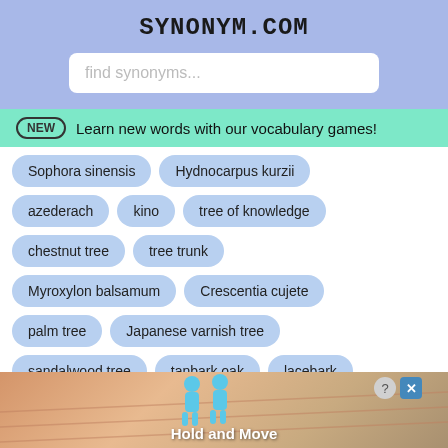SYNONYM.COM
find synonyms...
NEW  Learn new words with our vocabulary games!
Sophora sinensis
Hydnocarpus kurzii
azederach
kino
tree of knowledge
chestnut tree
tree trunk
Myroxylon balsamum
Crescentia cujete
palm tree
Japanese varnish tree
sandalwood tree
tanbark oak
lacebark
[Figure (screenshot): Advertisement banner showing 'Hold and Move' game with 3D character figures on a sandy ramp background]